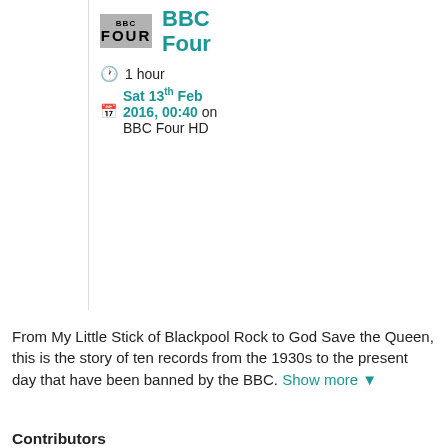[Figure (logo): BBC Four channel logo — grey rectangle with BBC text and FOUR below]
BBC Four
1 hour
Sat 13th Feb 2016, 00:40 on BBC Four HD
From My Little Stick of Blackpool Rock to God Save the Queen, this is the story of ten records from the 1930s to the present day that have been banned by the BBC. Show more ▼
Contributors
Director: Jenny MacLeod
Executive Producer: Pauline Law
Genres
Music / Classic Pop & Rock
Factual / Arts, Culture & the Media / Arts